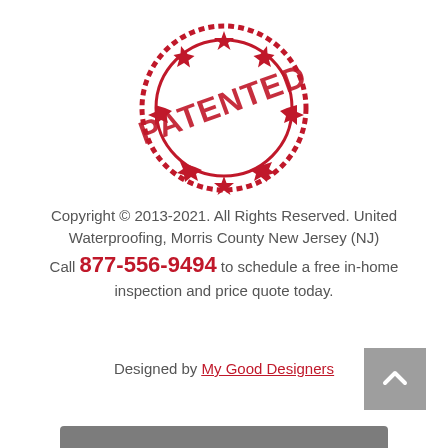[Figure (illustration): A red circular stamp graphic with the word PATENTED in bold across the center and stars around the border.]
Copyright © 2013-2021. All Rights Reserved. United Waterproofing, Morris County New Jersey (NJ)
Call 877-556-9494 to schedule a free in-home inspection and price quote today.
Designed by My Good Designers